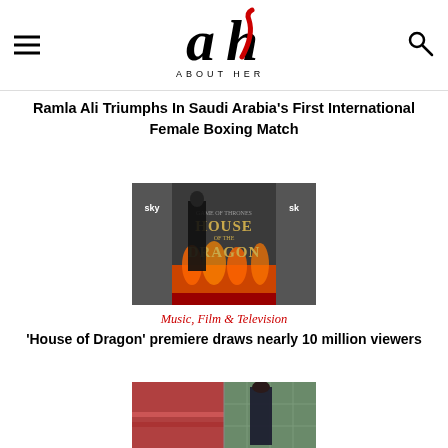About Her logo with menu and search icons
Ramla Ali Triumphs In Saudi Arabia's First International Female Boxing Match
[Figure (photo): Person in black dress standing in front of House of the Dragon premiere backdrop with sky branding and flames]
Music, Film & Television
'House of Dragon' premiere draws nearly 10 million viewers
[Figure (photo): Partial image of a fashion/event photo, partially cut off at bottom]